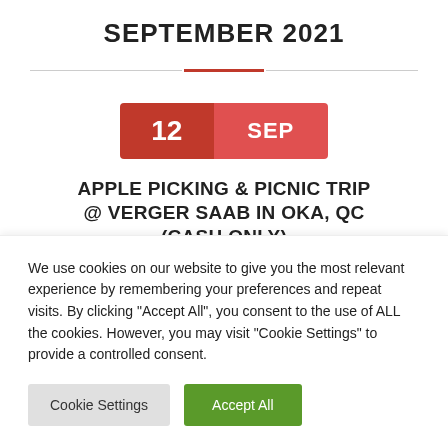SEPTEMBER 2021
[Figure (other): Red and gray horizontal divider line under the title]
12 SEP
APPLE PICKING & PICNIC TRIP @ VERGER SAAB IN OKA, QC (CASH ONLY)
Sunday, Verger Saab
We use cookies on our website to give you the most relevant experience by remembering your preferences and repeat visits. By clicking "Accept All", you consent to the use of ALL the cookies. However, you may visit "Cookie Settings" to provide a controlled consent.
Cookie Settings | Accept All